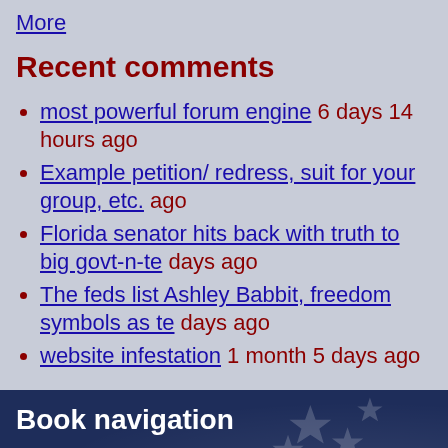More
Recent comments
most powerful forum engine 6 days 14 hours ago
Example petition/ redress, suit for your group, etc. ago
Florida senator hits back with truth to big govt-n-te days ago
The feds list Ashley Babbit, freedom symbols as te days ago
website infestation 1 month 5 days ago
Book navigation
TRAINING MANUAL WAR DEPARTMENT CITIZENSHIP